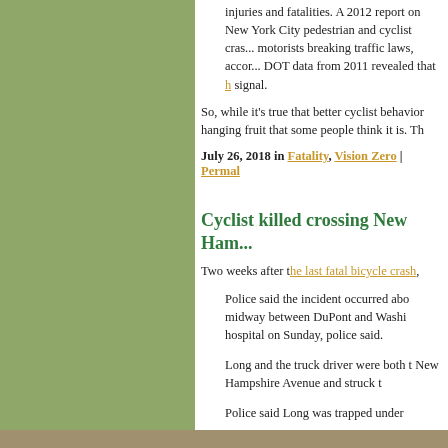injuries and fatalities. A 2012 report on New York City pedestrian and cyclist crashes found motorists breaking traffic laws, according to NYC DOT data from 2011 revealed that h... signal.
So, while it's true that better cyclist behavior... hanging fruit that some people think it is. Th...
July 26, 2018 in Fatality, Vision Zero | Permal...
Cyclist killed crossing New Ham...
Two weeks after the last fatal bicycle crash,...
Police said the incident occurred abo... midway between DuPont and Washi... hospital on Sunday, police said.
Long and the truck driver were both t... New Hampshire Avenue and struck t...
Police said Long was trapped under...
Not a lot of details here, but that intersection... before then making a right turn more like a 1...
July 10, 2018 in Fatality, Protected Bike Lane...